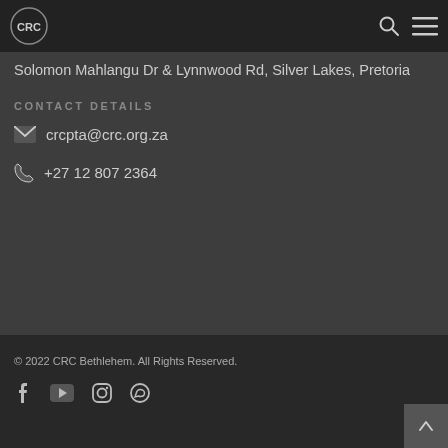CRC logo, search icon, menu icon
Solomon Mahlangu Dr & Lynnwood Rd, Silver Lakes, Pretoria
CONTACT DETAILS
crcpta@crc.org.za
+27 12 807 2364
© 2022 CRC Bethlehem. All Rights Reserved.
Facebook, YouTube, Instagram, WhatsApp social icons